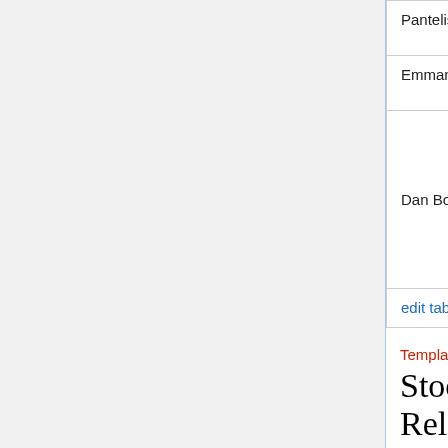| Name | Email | Link |
| --- | --- | --- |
| Pantelis Topalis | topalis*imbb.forth.gr | Ve...
@... |
| Emmanuel Dialynas | ed * imbb.forth.gr | Ve...
@... |
| Dan Bolser | dan.bolser@gmail.com | Em...
Ge...
Pl...
div... |
| edit table ↗ |  |  |
Template:ThisIsATET
Stock Relationship